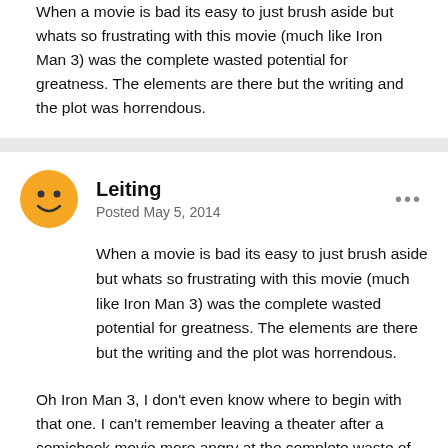When a movie is bad its easy to just brush aside but whats so frustrating with this movie (much like Iron Man 3) was the complete wasted potential for greatness. The elements are there but the writing and the plot was horrendous.
Leiting
Posted May 5, 2014
When a movie is bad its easy to just brush aside but whats so frustrating with this movie (much like Iron Man 3) was the complete wasted potential for greatness. The elements are there but the writing and the plot was horrendous.
Oh Iron Man 3, I don't even know where to begin with that one. I can't remember leaving a theater after a comicbook movie more angry at the complete waste of source material...I remember thinking nothing would ever disappoint me as much as that movie did, but then June rolled around and I saw Man of Steel, and I learned new depths of